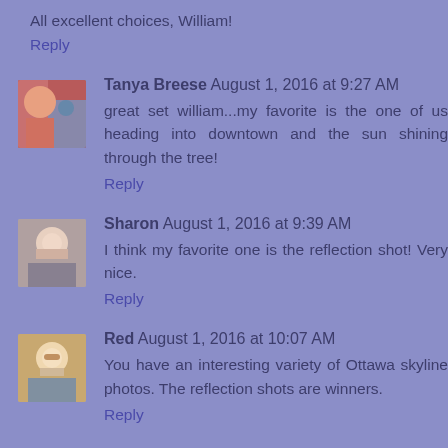All excellent choices, William!
Reply
Tanya Breese  August 1, 2016 at 9:27 AM
great set william...my favorite is the one of us heading into downtown and the sun shining through the tree!
Reply
Sharon  August 1, 2016 at 9:39 AM
I think my favorite one is the reflection shot! Very nice.
Reply
Red  August 1, 2016 at 10:07 AM
You have an interesting variety of Ottawa skyline photos. The reflection shots are winners.
Reply